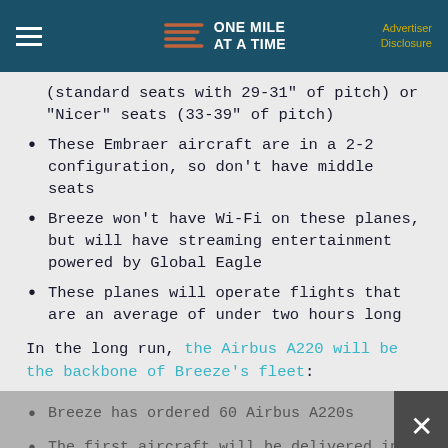ONE MILE AT A TIME | Advertiser Disclosure
(standard seats with 29-31" of pitch) or “Nicer” seats (33-39" of pitch)
These Embraer aircraft are in a 2-2 configuration, so don’t have middle seats
Breeze won’t have Wi-Fi on these planes, but will have streaming entertainment powered by Global Eagle
These planes will operate flights that are an average of under two hours long
In the long run, the Airbus A220 will be the backbone of Breeze’s fleet:
Breeze has ordered 60 Airbus A220s
The first aircraft will be delivered in October